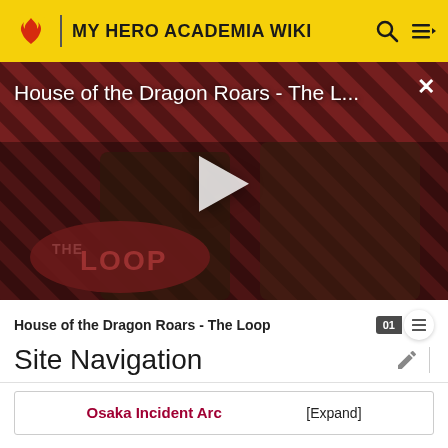MY HERO ACADEMIA WIKI
[Figure (screenshot): Video thumbnail for 'House of the Dragon Roars - The L...' showing two characters against a striped red and dark background with The Loop logo. A play button is visible in the center.]
House of the Dragon Roars - The Loop
Site Navigation
Osaka Incident Arc [Expand]